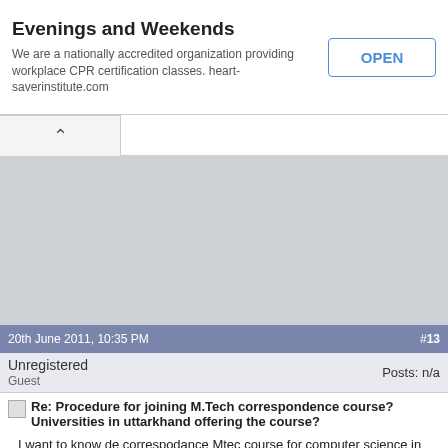Evenings and Weekends
We are a nationally accredited organization providing workplace CPR certification classes. heart-saverinstitute.com
[Figure (map): Gray map area with a tab showing an up-arrow caret]
20th June 2011, 10:35 PM  #13
Unregistered
Guest
Posts: n/a
Re: Procedure for joining M.Tech correspondence course? Universities in uttarkhand offering the course?
I want to know de correspodance Mtec course for computer science in bangalore please kindly replay to this email id swethanaik252@gmail.com